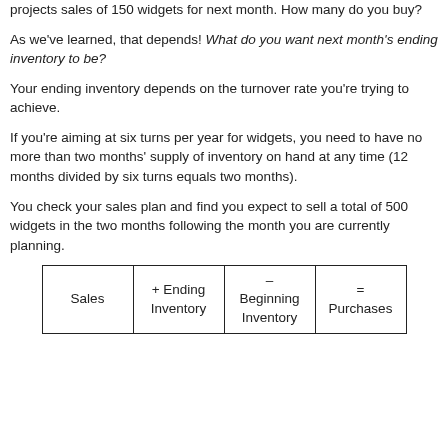projects sales of 150 widgets for next month. How many do you buy?
As we've learned, that depends! What do you want next month's ending inventory to be?
Your ending inventory depends on the turnover rate you're trying to achieve.
If you're aiming at six turns per year for widgets, you need to have no more than two months' supply of inventory on hand at any time (12 months divided by six turns equals two months).
You check your sales plan and find you expect to sell a total of 500 widgets in the two months following the month you are currently planning.
| Sales | + Ending Inventory | – Beginning Inventory | = Purchases |
| --- | --- | --- | --- |